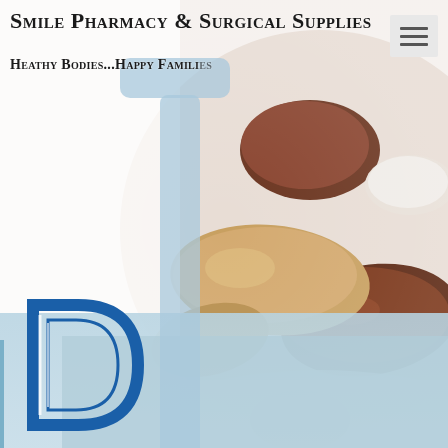Smile Pharmacy & Surgical Supplies
Heathy Bodies...Happy Families
[Figure (photo): Close-up photo of various supplement capsules and pills in a white bowl, showing brown, tan, gold, and white capsules]
[Figure (illustration): Light blue mortar and pestle silhouette graphic overlay on the page background]